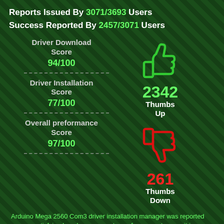Reports Issued By 3071/3693 Users
Success Reported By 2457/3071 Users
Driver Download Score
94/100
[Figure (illustration): Green thumbs up icon]
2342 Thumbs Up
Driver Installation Score
77/100
[Figure (illustration): Red thumbs down icon]
261 Thumbs Down
Overall preformance Score
97/100
Arduino Mega 2560 Com3 driver installation manager was reported as very satisfying by a large percentage of our reporters, so it is recommended to download